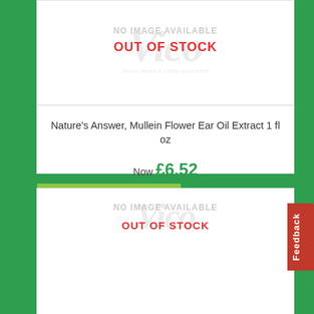[Figure (screenshot): Product card showing no image available placeholder with watermark logo and OUT OF STOCK text overlay]
Nature's Answer, Mullein Flower Ear Oil Extract 1 fl oz
Now £6.52
39% OFF
Was £10.76
[Figure (screenshot): Second product card (partial) showing no image available placeholder with OUT OF STOCK text, with heart/wishlist icon]
Feedback